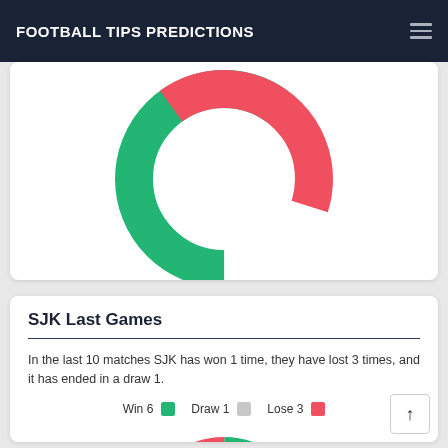FOOTBALL TIPS PREDICTIONS
[Figure (donut-chart): Partially visible donut chart showing green and red segments, cropped at top of view.]
SJK Last Games
In the last 10 matches SJK has won 1 time, they have lost 3 times, and it has ended in a draw 1.
[Figure (donut-chart): SJK Last Games distribution]